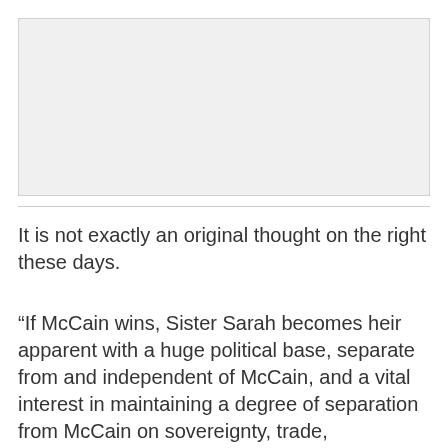[Figure (other): Gray image placeholder area at the top of the page]
It is not exactly an original thought on the right these days.
“If McCain wins, Sister Sarah becomes heir apparent with a huge political base, separate from and independent of McCain, and a vital interest in maintaining a degree of separation from McCain on sovereignty, trade, immigration and John McCain-Joe Lieberman-Lindsay Graham war policy,” political commentator Pat Buchanan told The